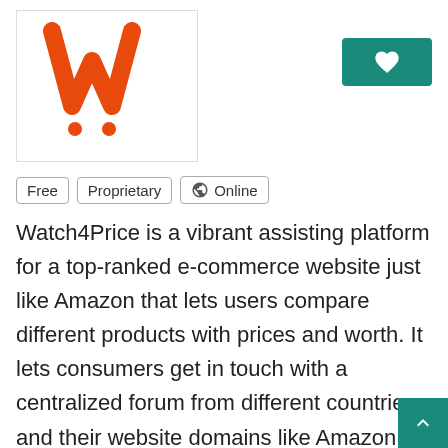[Figure (logo): Watch4Price logo — orange stylized W with exclamation marks as dots on white background with border]
Free
Proprietary
Online
Watch4Price is a vibrant assisting platform for a top-ranked e-commerce website just like Amazon that lets users compare different products with prices and worth. It lets consumers get in touch with a centralized forum from different countries and their website domains like Amazon Italy, Germany, Spain, and France for the latest shopping lists